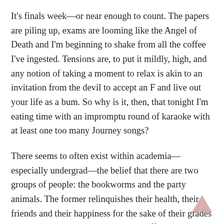It's finals week—or near enough to count. The papers are piling up, exams are looming like the Angel of Death and I'm beginning to shake from all the coffee I've ingested. Tensions are, to put it mildly, high, and any notion of taking a moment to relax is akin to an invitation from the devil to accept an F and live out your life as a bum. So why is it, then, that tonight I'm eating time with an impromptu round of karaoke with at least one too many Journey songs?
There seems to often exist within academia—especially undergrad—the belief that there are two groups of people: the bookworms and the party animals. The former relinquishes their health, their friends and their happiness for the sake of their grades and usually sees that hard work pay off. The latter spends their night cozying up not to their textbook but a pint of beer, opting to enjoy their time at college even if it means they might not be allowed to return next year.
[Figure (other): A pink/salmon colored upward-pointing chevron arrow (back-to-top button) in the bottom right corner of the page.]